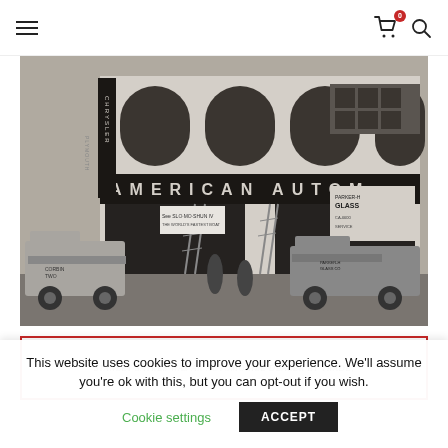Navigation bar with hamburger menu, cart icon (0 items), and search icon
[Figure (photo): Black and white historical photograph of the American Automobile dealership storefront, showing vintage trucks and workers, with a Chrysler/Plymouth sign on the left and Parker-H Glass sign on the right.]
STANLEY SAYRES WAS AN AUTOMOBILE DEALER BY TRADE,
This website uses cookies to improve your experience. We'll assume you're ok with this, but you can opt-out if you wish.
Cookie settings   ACCEPT